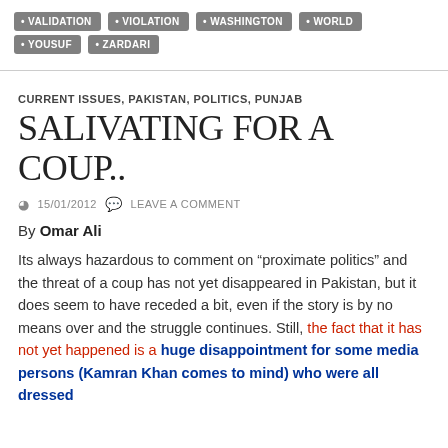VALIDATION
VIOLATION
WASHINGTON
WORLD
YOUSUF
ZARDARI
CURRENT ISSUES, PAKISTAN, POLITICS, PUNJAB
SALIVATING FOR A COUP..
15/01/2012   LEAVE A COMMENT
By Omar Ali
Its always hazardous to comment on “proximate politics” and the threat of a coup has not yet disappeared in Pakistan, but it does seem to have receded a bit, even if the story is by no means over and the struggle continues. Still, the fact that it has not yet happened is a huge disappointment for some media persons (Kamran Khan comes to mind) who were all dressed